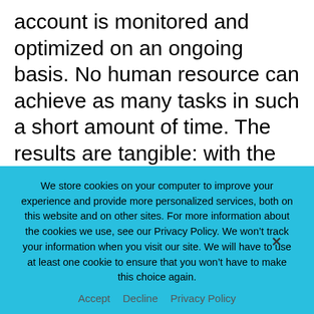account is monitored and optimized on an ongoing basis. No human resource can achieve as many tasks in such a short amount of time. The results are tangible: with the help of artificial intelligence, the clients can see their profits increase and save valuable time that could be spent elsewhere.

“For every task needed to manage your Amazon account, there are AI solutions to help maximize
We store cookies on your computer to improve your experience and provide more personalized services, both on this website and on other sites. For more information about the cookies we use, see our Privacy Policy. We won’t track your information when you visit our site. We will have to use at least one cookie to ensure that you won’t have to make this choice again.
Accept   Decline   Privacy Policy